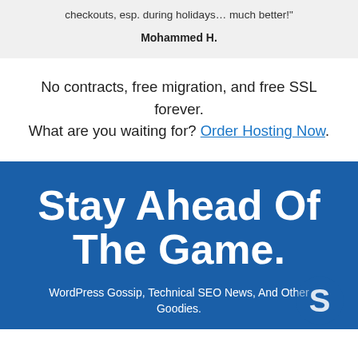checkouts, esp. during holidays… much better!"
Mohammed H.
No contracts, free migration, and free SSL forever. What are you waiting for? Order Hosting Now.
Stay Ahead Of The Game.
WordPress Gossip, Technical SEO News, And Other Goodies.